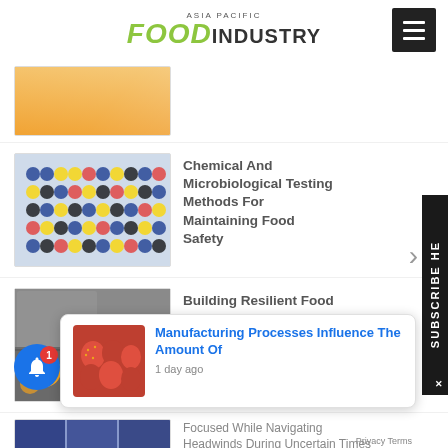ASIA PACIFIC FOOD INDUSTRY
[Figure (photo): Cropped image of orange food item (smoothie/juice) from above]
[Figure (photo): Lab test tubes with colorful caps arranged in a grid on a testing device]
Chemical And Microbiological Testing Methods For Maintaining Food Safety
[Figure (photo): Industrial oven with oranges/citrus fruits on baking trays]
Building Resilient Food Supply Chains In ASEAN In The Face Of COVID-19
[Figure (photo): Strawberries in clear packaging containers]
Manufacturing Processes Influence The Amount Of
1 day ago
Focused While Navigating Headwinds During Uncertain Times